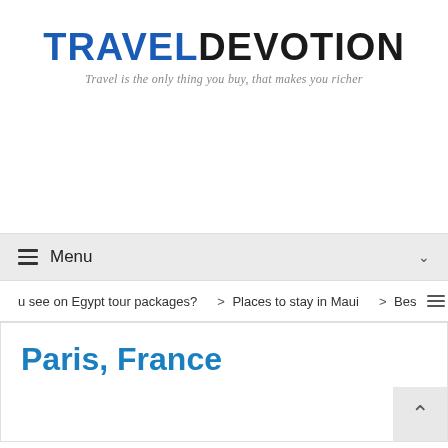TRAVELDEVOTION
Travel is the only thing you buy, that makes you richer
Menu
> u see on Egypt tour packages?  > Places to stay in Maui  > Bes
Paris, France